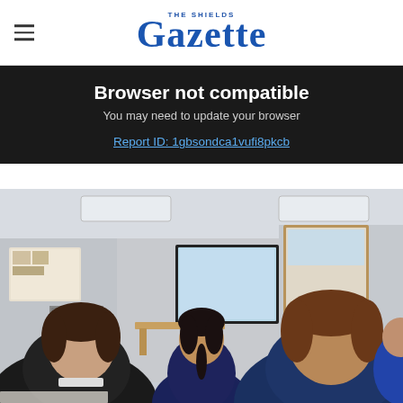THE SHIELDS Gazette
Browser not compatible
You may need to update your browser
Report ID: 1gbsondca1vufi8pkcb
[Figure (photo): School classroom scene viewed from behind students sitting at desks. A female student faces toward an interactive whiteboard at the front of the room. Multiple students in school uniforms are seated. The classroom has standard fluorescent lighting and educational materials on the walls.]